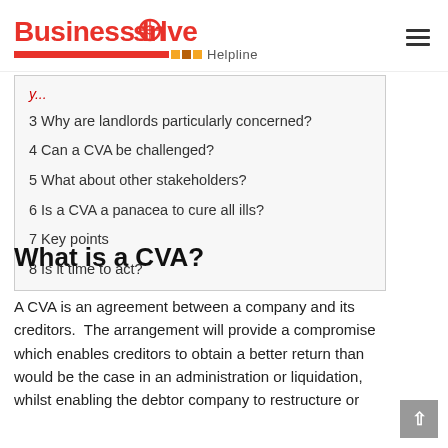Business Insolvency Helpline
3 Why are landlords particularly concerned?
4 Can a CVA be challenged?
5 What about other stakeholders?
6 Is a CVA a panacea to cure all ills?
7 Key points
8 Is it time to act?
What is a CVA?
A CVA is an agreement between a company and its creditors.  The arrangement will provide a compromise which enables creditors to obtain a better return than would be the case in an administration or liquidation, whilst enabling the debtor company to restructure or